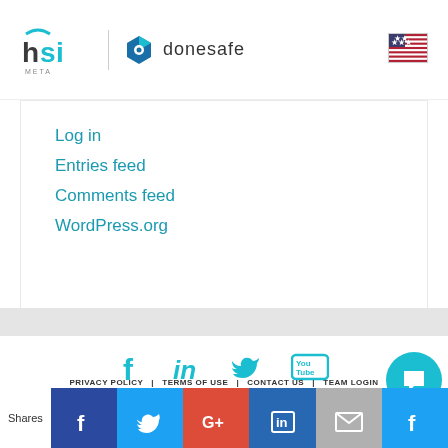[Figure (logo): HSI Meta and Donesafe logos in header, with US flag icon on right]
Log in
Entries feed
Comments feed
WordPress.org
[Figure (infographic): Social media icons: Facebook, LinkedIn, Twitter, YouTube in teal color]
PRIVACY POLICY   TERMS OF USE   CONTACT US   TEAM LOGIN
PARTNER AGREEMENT
[Figure (logo): Large Donesafe logo with hexagon icon]
[Figure (infographic): Share bar with Shares label, Facebook, Twitter, Google+, LinkedIn, Email, and another button icons]